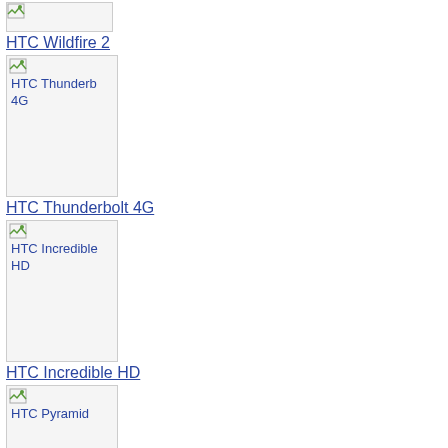[Figure (photo): Small placeholder image (broken) at top]
HTC Wildfire 2
[Figure (photo): HTC Thunderbolt 4G placeholder image]
HTC Thunderbolt 4G
[Figure (photo): HTC Incredible HD placeholder image]
HTC Incredible HD
[Figure (photo): HTC Pyramid placeholder image]
HTC Pyramid
[Figure (photo): Small broken image icon]
[Figure (photo): Small broken image icon with Blackberry Contract Mobile Phones label]
Blackberry Contract Mobile Phones
[Figure (photo): Small broken image placeholder]
[Figure (photo): Blackberry Curve placeholder image]